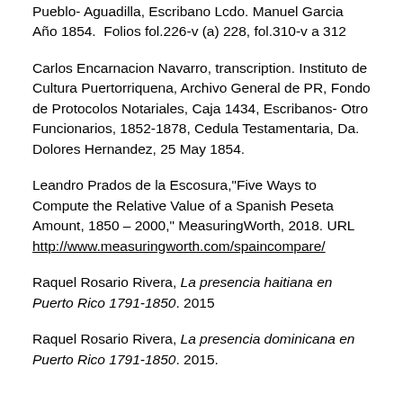Pueblo- Aguadilla, Escribano Lcdo. Manuel Garcia Año 1854.  Folios fol.226-v (a) 228, fol.310-v a 312
Carlos Encarnacion Navarro, transcription. Instituto de Cultura Puertorriquena, Archivo General de PR, Fondo de Protocolos Notariales, Caja 1434, Escribanos- Otro Funcionarios, 1852-1878, Cedula Testamentaria, Da. Dolores Hernandez, 25 May 1854.
Leandro Prados de la Escosura,"Five Ways to Compute the Relative Value of a Spanish Peseta Amount, 1850 – 2000," MeasuringWorth, 2018. URL http://www.measuringworth.com/spaincompare/
Raquel Rosario Rivera, La presencia haitiana en Puerto Rico 1791-1850. 2015
Raquel Rosario Rivera, La presencia dominicana en Puerto Rico 1791-1850. 2015.